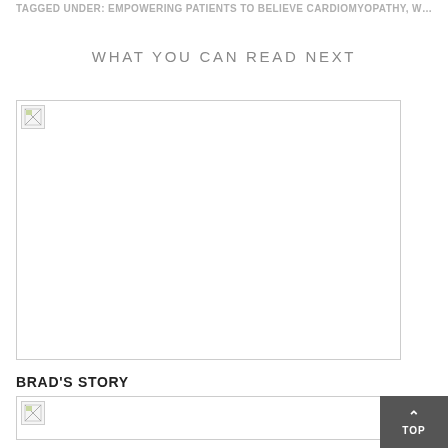TAGGED UNDER: EMPOWERING PATIENTS TO BELIEVE CARDIOMYOPATHY, WEIGHT LOSS
WHAT YOU CAN READ NEXT
[Figure (photo): Broken image placeholder - first recommended article image]
BRAD'S STORY
[Figure (photo): Broken image placeholder - Brad's Story article image]